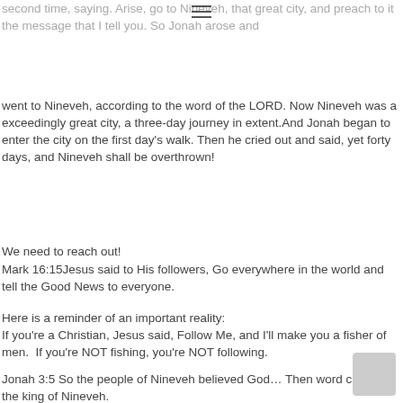second time, saying. Arise, go to Nineveh, that great city, and preach to it the message that I tell you. So Jonah arose and
went to Nineveh, according to the word of the LORD. Now Nineveh was a exceedingly great city, a three-day journey in extent.And Jonah began to enter the city on the first day's walk. Then he cried out and said, yet forty days, and Nineveh shall be overthrown!
We need to reach out!
Mark 16:15Jesus said to His followers, Go everywhere in the world and tell the Good News to everyone.
Here is a reminder of an important reality:
If you're a Christian, Jesus said, Follow Me, and I'll make you a fisher of men.  If you're NOT fishing, you're NOT following.
Jonah 3:5 So the people of Nineveh believed God… Then word came to the king of Nineveh.
Galatians 6:2 Stoop down and reach out to those who were oppressed. SHARE their burdens.